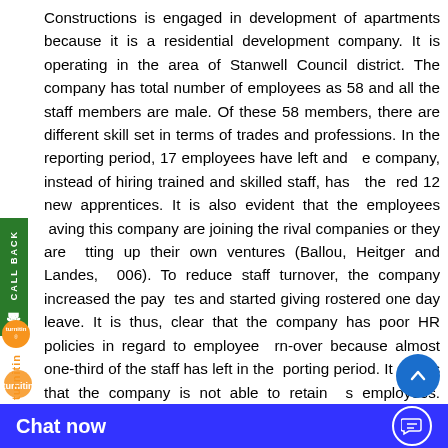Constructions is engaged in development of apartments because it is a residential development company. It is operating in the area of Stanwell Council district. The company has total number of employees as 58 and all the staff members are male. Of these 58 members, there are different skill set in terms of trades and professions. In the reporting period, 17 employees have left and the company, instead of hiring trained and skilled staff, has the hired 12 new apprentices. It is also evident that the employees leaving this company are joining the rival companies or they are setting up their own ventures (Ballou, Heitger and Landes, 2006). To reduce staff turnover, the company increased the pay rates and started giving rostered one day leave. It is thus, clear that the company has poor HR policies in regard to employee turn-over because almost one-third of the staff has left in the reporting period. It shows that the company is not able to retain its employees. Further, there seems to be incorrect level of staff hires because the company has hired only 12 new apprentices in place of the 17 out-going employees. It is also apparent that there is high level of discrimination is new employee hiring and the all the new hires are discrimination in t...